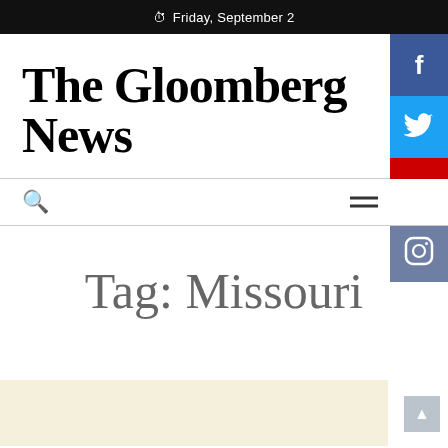Friday, September 2
The Gloomberg News
Tag: Missouri
[Figure (other): Article thumbnail strip at the bottom, beige/cream background placeholder]